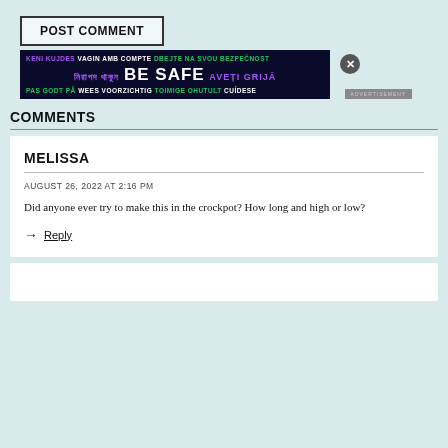POST COMMENT
[Figure (infographic): Safety advertisement banner with multilingual 'BE SAFE' message on dark background. Text in multiple languages: KENI KUJDES, VAGIN AMB COMPTE, DBEJTE NA SVOU BEZPECNOST, BE SAFE, AVETI GRIJA, PAS GODT PA, WEES VOORZICHTIG, TOIMIGE OHUTULT, CUIDESE. ADVERTISEMENT label on right side.]
COMMENTS
MELISSA
AUGUST 26, 2022 AT 2:16 PM
Did anyone ever try to make this in the crockpot? How long and high or low?
Reply